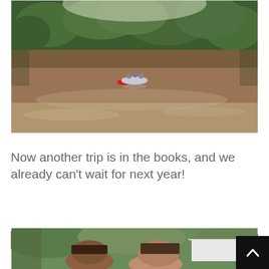[Figure (photo): A wide brown river with dense green forest treeline in the background. In the middle of the river, a small group of people can be seen on inflatables or a raft. The water reflects the trees and sky.]
Now another trip is in the books, and we already can't wait for next year!
[Figure (photo): A partially visible photo showing people (faces with hair visible) outdoors in a green wooded setting with a tent or canopy in the background.]